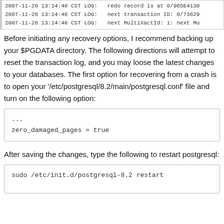2007-11-26 13:14:48 CST LOG:  redo record is at 0/965E4130
2007-11-26 13:14:48 CST LOG:  next transaction ID: 0/73629
2007-11-26 13:14:48 CST LOG:  next MultiXactId: 1: next Mu
Before initiating any recovery options, I recommend backing up your $PGDATA directory. The following directions will attempt to reset the transaction log, and you may loose the latest changes to your databases. The first option for recovering from a crash is to open your '/etc/postgresql/8.2/main/postgresql.conf' file and turn on the following option:
...
zero_damaged_pages = true
After saving the changes, type the following to restart postgresql:
sudo /etc/init.d/postgresql-8.2 restart